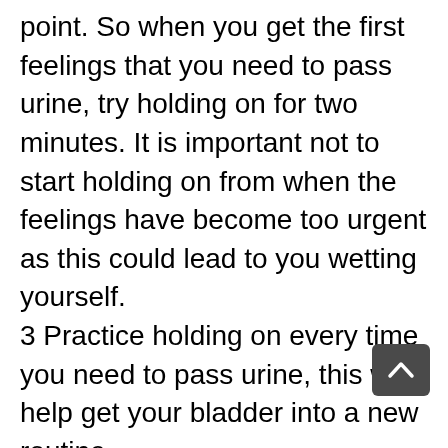point. So when you get the first feelings that you need to pass urine, try holding on for two minutes. It is important not to start holding on from when the feelings have become too urgent as this could lead to you wetting yourself. 3 Practice holding on every time you need to pass urine, this will help get your bladder into a new routine. 4 When you get the urge to pass urine try doing a long slow contraction of your pelvic floor muscles. Sitting on a hard surface may help as this gives support to these muscles. You could also try distracting yourself with a book or the